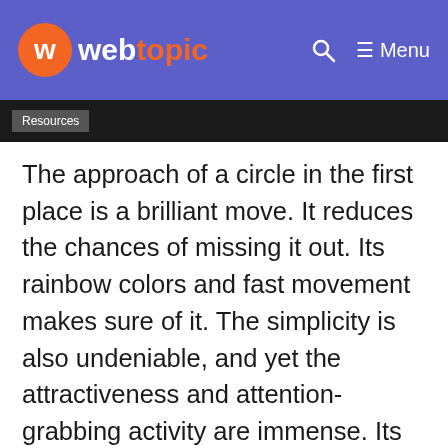webtopic — Menu
Resources
The approach of a circle in the first place is a brilliant move. It reduces the chances of missing it out. Its rainbow colors and fast movement makes sure of it. The simplicity is also undeniable, and yet the attractiveness and attention-grabbing activity are immense. Its author is John Grishin, and the technologies are HTML and CSS. It was created in 2014 on 24th April.